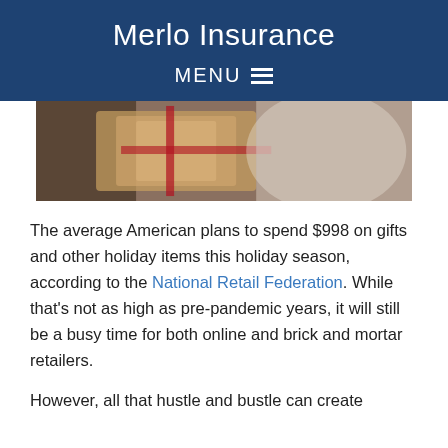Merlo Insurance
MENU
[Figure (photo): Person holding wrapped holiday gift packages, wearing a fuzzy/fluffy white coat, with red ribbons visible on packages]
The average American plans to spend $998 on gifts and other holiday items this holiday season, according to the National Retail Federation. While that's not as high as pre-pandemic years, it will still be a busy time for both online and brick and mortar retailers.
However, all that hustle and bustle can create